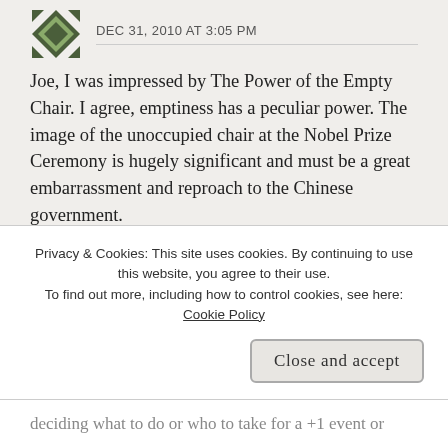DEC 31, 2010 AT 3:05 PM
Joe, I was impressed by The Power of the Empty Chair. I agree, emptiness has a peculiar power. The image of the unoccupied chair at the Nobel Prize Ceremony is hugely significant and must be a great embarrassment and reproach to the Chinese government.
Like
Reply
CAROLYN says:
Privacy & Cookies: This site uses cookies. By continuing to use this website, you agree to their use.
To find out more, including how to control cookies, see here: Cookie Policy
Close and accept
deciding what to do or who to take for a +1 event or